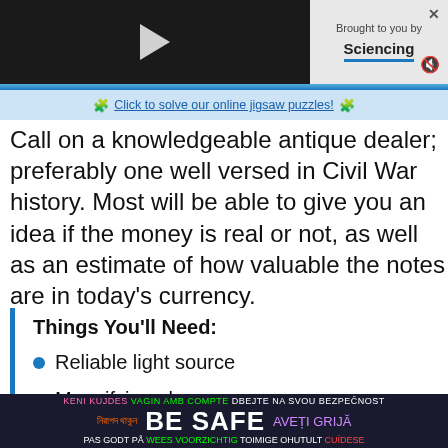[Figure (screenshot): Video player with play button on dark background]
Brought to you by Sciencing
Click to solve our online jigsaw puzzles!
Call on a knowledgeable antique dealer; preferably one well versed in Civil War history. Most will be able to give you an idea if the money is real or not, as well as an estimate of how valuable the notes are in today's currency.
Things You'll Need:
Reliable light source
Magnifying glass
[Figure (infographic): BE SAFE multilingual safety banner with text in multiple languages and colors on dark background]